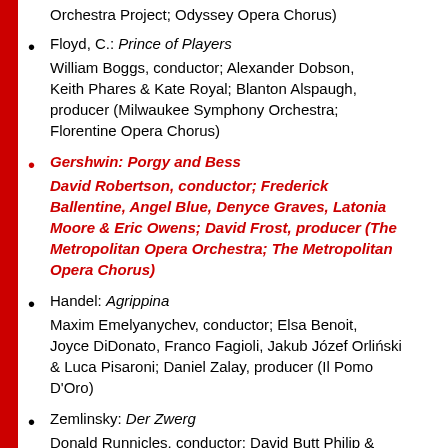Orchestra Project; Odyssey Opera Chorus)
Floyd, C.: Prince of Players
William Boggs, conductor; Alexander Dobson, Keith Phares & Kate Royal; Blanton Alspaugh, producer (Milwaukee Symphony Orchestra; Florentine Opera Chorus)
Gershwin: Porgy and Bess
David Robertson, conductor; Frederick Ballentine, Angel Blue, Denyce Graves, Latonia Moore & Eric Owens; David Frost, producer (The Metropolitan Opera Orchestra; The Metropolitan Opera Chorus)
Handel: Agrippina
Maxim Emelyanychev, conductor; Elsa Benoit, Joyce DiDonato, Franco Fagioli, Jakub Józef Orliński & Luca Pisaroni; Daniel Zalay, producer (Il Pomo D'Oro)
Zemlinsky: Der Zwerg
Donald Runnicles, conductor; David Butt Philip & Elena Tsallagova; Peter Ghirardini & Erwin